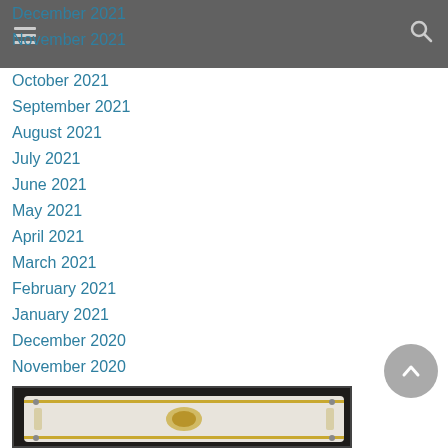Navigation header with hamburger menu and search icon
December 2021
November 2021
October 2021
September 2021
August 2021
July 2021
June 2021
May 2021
April 2021
March 2021
February 2021
January 2021
December 2020
November 2020
July 2020
June 2020
[Figure (photo): Bottom portion of a photograph showing what appears to be a vintage/retro device or appliance with cream/white color and gold trim details against a dark background]